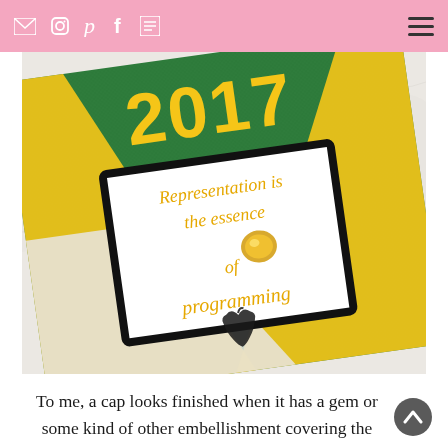Social media navigation icons and hamburger menu
[Figure (photo): A decorated graduation cap on a marble surface. The cap is green glitter with yellow accents and displays a white card with yellow script lettering reading 'Representation is the essence of programming' with a yellow gem in the center. The number 2017 appears in yellow at the top. An Apple logo silhouette is visible at the bottom.]
To me, a cap looks finished when it has a gem or some kind of other embellishment covering the button. It's also very helpful because if you're decorating onto